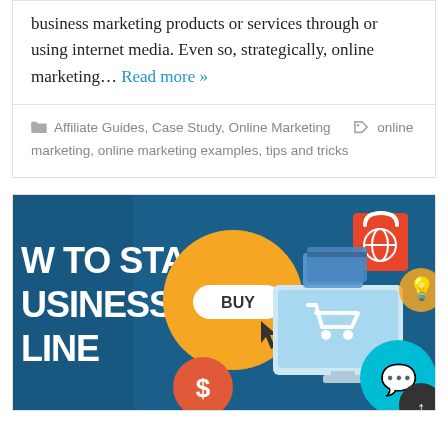business marketing products or services through or using internet media. Even so, strategically, online marketing… Read more »
Affiliate Guides, Case Study, Online Marketing  online marketing, online marketing examples, tips and tricks
[Figure (illustration): Promotional banner image with dark blue background showing e-commerce and online business icons including a BUY button, shopping cart on a monitor, shopping bag with globe icon, lightbulb, dollar sign circle, and a cyan chat bubble icon. Text reads 'HOW TO START BUSINESS ONLINE' (partially cropped on left).]